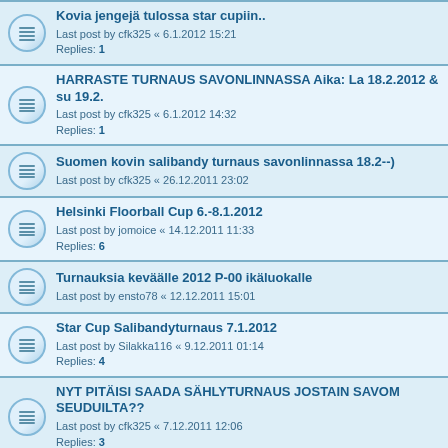Kovia jengejä tulossa star cupiin.. Last post by cfk325 « 6.1.2012 15:21 Replies: 1
HARRASTE TURNAUS SAVONLINNASSA Aika: La 18.2.2012 & su 19.2. Last post by cfk325 « 6.1.2012 14:32 Replies: 1
Suomen kovin salibandy turnaus savonlinnassa 18.2--) Last post by cfk325 « 26.12.2011 23:02
Helsinki Floorball Cup 6.-8.1.2012 Last post by jomoice « 14.12.2011 11:33 Replies: 6
Turnauksia keväälle 2012 P-00 ikäluokalle Last post by ensto78 « 12.12.2011 15:01
Star Cup Salibandyturnaus 7.1.2012 Last post by Silakka116 « 9.12.2011 01:14 Replies: 4
NYT PITÄISI SAADA SÄHLYTURNAUS JOSTAIN SAVOM SEUDUILTA?? Last post by cfk325 « 7.12.2011 12:06 Replies: 3
Mestareiden Cup 2011 (27.-28.8., 3.-4.9. ja 10.-11.9.) Last post by turhaard « 8.9.2011 09:46 Replies: 60 Pages: 1 2 3 4 5
Tribal Cup 17.-18.9.2011 Last post by Westend Indians « 8.8.2011 15:35